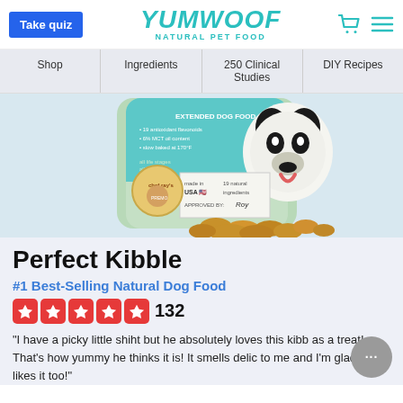Take quiz | YUMWOOF NATURAL PET FOOD | [cart icon] [menu icon]
Shop
Ingredients
250 Clinical Studies
DIY Recipes
[Figure (photo): Product photo of Yumwoof Perfect Kibble dog food bag with a Boston Terrier on the packaging, with kibble pieces scattered in front]
Perfect Kibble
#1 Best-Selling Natural Dog Food
132
“I have a picky little shiht but he absolutely loves this kibb as a treat! That's how yummy he thinks it is! It smells delic to me and I'm glad he likes it too!”